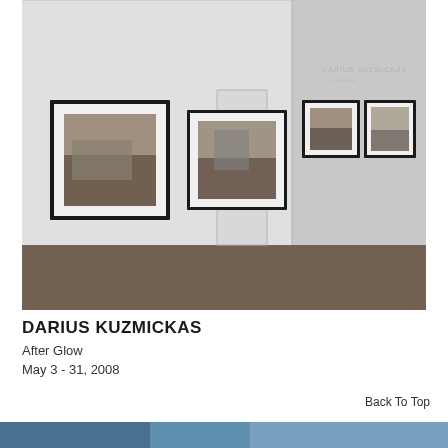[Figure (photo): Gallery installation view showing a white-walled room with concrete floor. Four framed black-and-white photographs are hung on the walls — two on the left wall and two on the right wall near a corner. Text 'DARIUS KUZMICKAS After Glow' is faintly visible on the right wall. A doorway is partially visible in the center background.]
DARIUS KUZMICKAS
After Glow
May 3 - 31, 2008
Back To Top
[Figure (photo): Partial view of another image at the very bottom of the page, appears to show a colorful scene, cut off.]